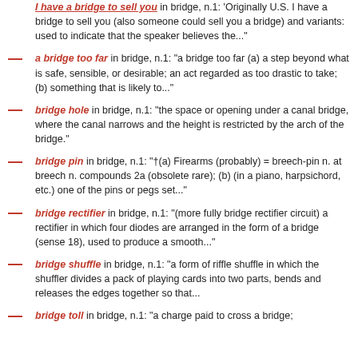I have a bridge to sell you in bridge, n.1: Originally U.S. I have a bridge to sell you (also someone could sell you a bridge) and variants: used to indicate that the speaker believes the..."
a bridge too far in bridge, n.1: "a bridge too far (a) a step beyond what is safe, sensible, or desirable; an act regarded as too drastic to take; (b) something that is likely to..."
bridge hole in bridge, n.1: "the space or opening under a canal bridge, where the canal narrows and the height is restricted by the arch of the bridge."
bridge pin in bridge, n.1: "†(a) Firearms (probably) = breech-pin n. at breech n. compounds 2a (obsolete rare); (b) (in a piano, harpsichord, etc.) one of the pins or pegs set..."
bridge rectifier in bridge, n.1: "(more fully bridge rectifier circuit) a rectifier in which four diodes are arranged in the form of a bridge (sense 18), used to produce a smooth..."
bridge shuffle in bridge, n.1: "a form of riffle shuffle in which the shuffler divides a pack of playing cards into two parts, bends and releases the edges together so that..."
bridge toll in bridge, n.1: "a charge paid to cross a bridge;